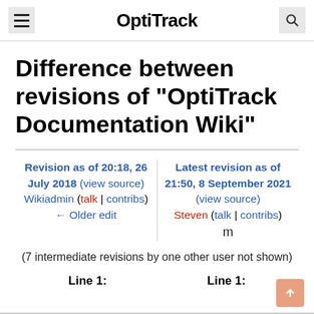OptiTrack
Difference between revisions of "OptiTrack Documentation Wiki"
Revision as of 20:18, 26 July 2018 (view source) Wikiadmin (talk | contribs) ← Older edit | Latest revision as of 21:50, 8 September 2021 (view source) Steven (talk | contribs) m
(7 intermediate revisions by one other user not shown)
Line 1:  Line 1: